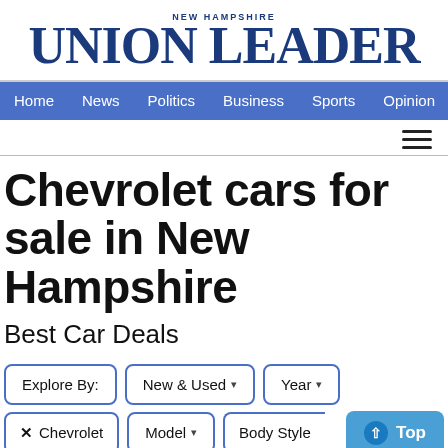[Figure (logo): New Hampshire Union Leader newspaper logo in blue serif font with 'NEW HAMPSHIRE' above 'UNION LEADER']
Home  News  Politics  Business  Sports  Opinion  Obits
Chevrolet cars for sale in New Hampshire
Best Car Deals
Explore By:  New & Used ▾  Year ▾
✕ Chevrolet  Model ▾  Body Style  Top